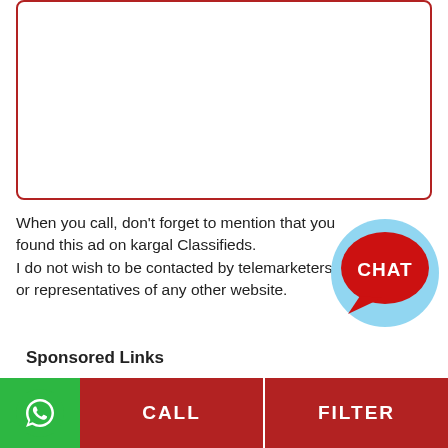[Figure (other): Red-bordered rounded rectangle box, empty white interior, serving as an image placeholder or ad content area]
When you call, don't forget to mention that you found this ad on kargal Classifieds.
I do not wish to be contacted by telemarketers or representatives of any other website.
[Figure (illustration): Chat bubble logo: a red speech bubble with white text 'CHAT' inside, overlaid on a light blue circle]
Sponsored Links
[Figure (illustration): Bottom navigation bar with three sections: green WhatsApp icon button, red CALL button, red FILTER button]